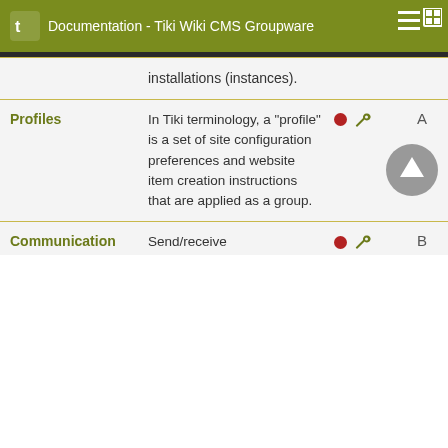Documentation - Tiki Wiki CMS Groupware
| Feature | Description | Icons | Level |
| --- | --- | --- | --- |
|  | installations (instances). |  |  |
| Profiles | In Tiki terminology, a "profile" is a set of site configuration preferences and website item creation instructions that are applied as a group. | ● 🔧 | A |
| Communication | Send/receive | ● 🔧 | B |